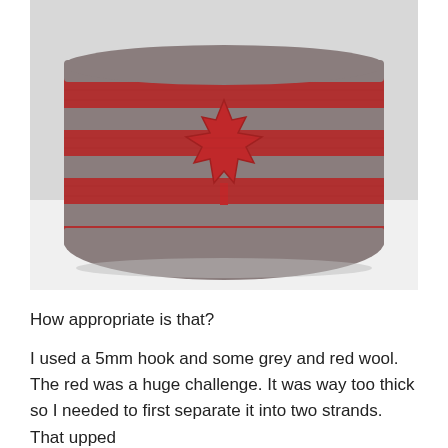[Figure (photo): A crocheted hat with alternating grey and red horizontal stripes, featuring a red maple leaf appliqué in the center, placed on a white surface.]
How appropriate is that?
I used a 5mm hook and some grey and red wool. The red was a huge challenge. It was way too thick so I needed to first separate it into two strands. That upped